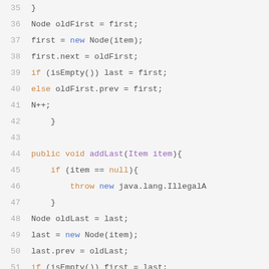[Figure (screenshot): Java source code snippet showing lines 35-57 of a doubly-linked list implementation, including addLast and removeFirst methods, displayed in a code editor with syntax highlighting.]